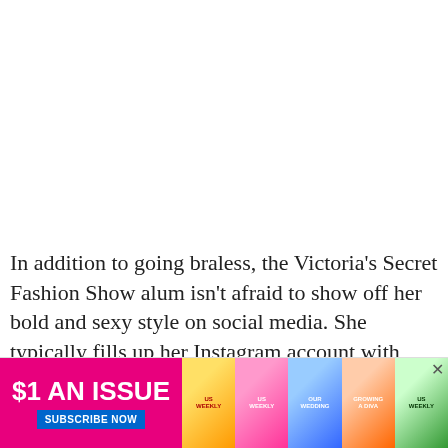In addition to going braless, the Victoria's Secret Fashion Show alum isn't afraid to show off her bold and sexy style on social media. She typically fills up her Instagram account with photos of
[Figure (other): Advertisement banner: '$1 AN ISSUE — SUBSCRIBE NOW' with magazine cover thumbnails for Us Weekly and other publications]